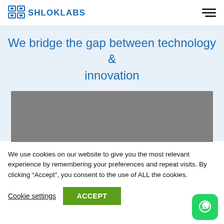[Figure (logo): Shloklabs logo with icon and text]
We bridge the gap between technology & innovation
[Figure (photo): Grey placeholder image]
We use cookies on our website to give you the most relevant experience by remembering your preferences and repeat visits. By clicking “Accept”, you consent to the use of ALL the cookies.
Cookie settings | ACCEPT